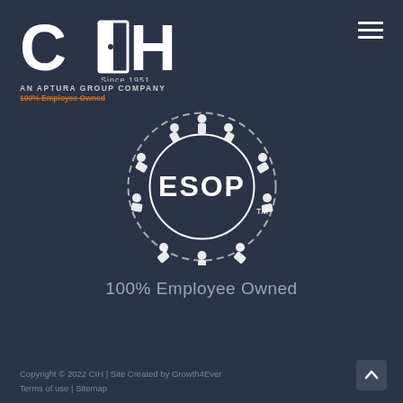[Figure (logo): CIH logo with door icon, 'Since 1951', 'AN APTURA GROUP COMPANY', '100% Employee Owned' in orange/strikethrough]
[Figure (logo): ESOP circular logo with people figures forming a circle around 'ESOP' text with TM mark]
100% Employee Owned
Copyright © 2022 CIH | Site Created by Growth4Ever
Terms of use | Sitemap